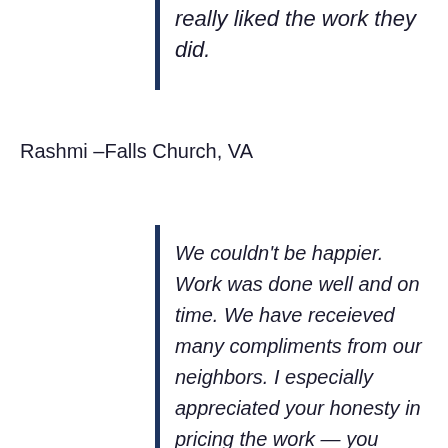really liked the work they did.
Rashmi –Falls Church, VA
We couldn't be happier. Work was done well and on time. We have receieved many compliments from our neighbors. I especially appreciated your honesty in pricing the work — you didn't inflate the price and then negotiate down like many other contracting companies we talked to. Also, you were always